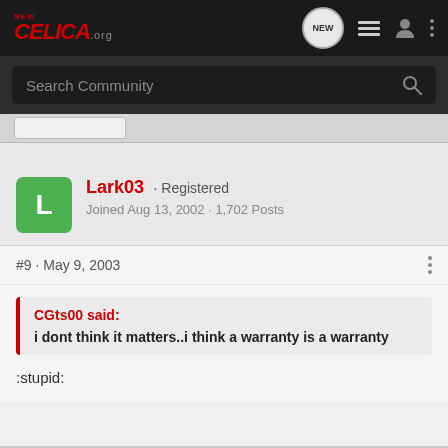NEW CELICA .org
Search Community
Lark03 · Registered
Joined Aug 13, 2002 · 1,702 Posts
#9 · May 9, 2003
CGts00 said:
i dont think it matters..i think a warranty is a warranty
:stupid: